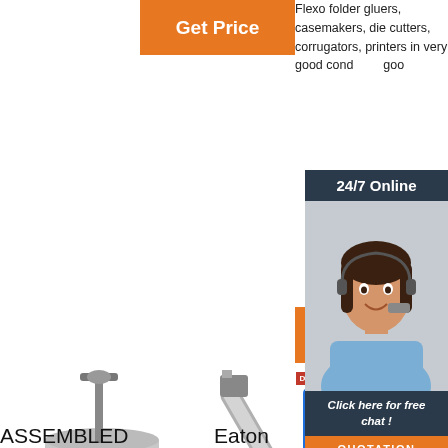[Figure (other): Orange 'Get Price' button at top center]
Flexo folder gluers, casemakers, die cutters, corrugators, printers in very good condition. Good...
[Figure (infographic): 24/7 Online chat panel with customer service agent photo, 'Click here for free chat!' text, and orange QUOTATION button]
[Figure (other): Orange 'Get Price' button on right side]
[Figure (photo): Industrial sieve/vibrating screen machine with blue base on left]
[Figure (photo): Screw conveyor / auger conveyor machine in center]
[Figure (photo): Blue industrial machine on right with TOP label]
ASSEMBLED
Eaton
Screwdrivin